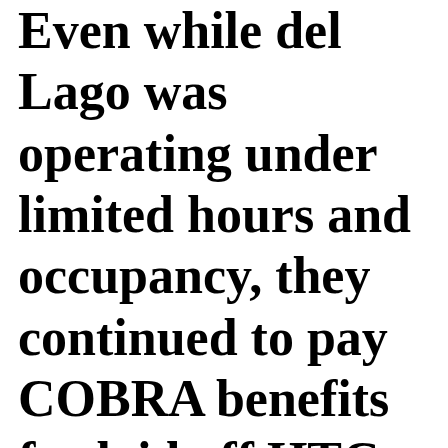Even while del Lago was operating under limited hours and occupancy, they continued to pay COBRA benefits for laid off HTC